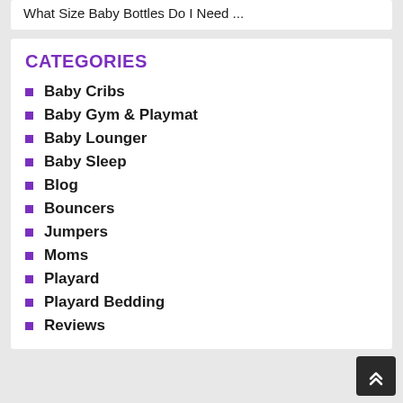What Size Baby Bottles Do I Need ...
CATEGORIES
Baby Cribs
Baby Gym & Playmat
Baby Lounger
Baby Sleep
Blog
Bouncers
Jumpers
Moms
Playard
Playard Bedding
Reviews